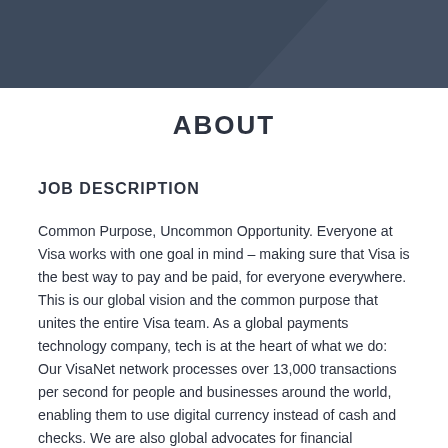[Figure (other): Dark blue/slate header banner with diagonal overlay accent]
ABOUT
JOB DESCRIPTION
Common Purpose, Uncommon Opportunity. Everyone at Visa works with one goal in mind – making sure that Visa is the best way to pay and be paid, for everyone everywhere. This is our global vision and the common purpose that unites the entire Visa team. As a global payments technology company, tech is at the heart of what we do: Our VisaNet network processes over 13,000 transactions per second for people and businesses around the world, enabling them to use digital currency instead of cash and checks. We are also global advocates for financial inclusion, working with partners around the world to help those who lack access to financial services join the global economy. Visa's sponsorships, including the Olympics and FIFA™ World Cup, celebrate teamwork, diversity, and excellence